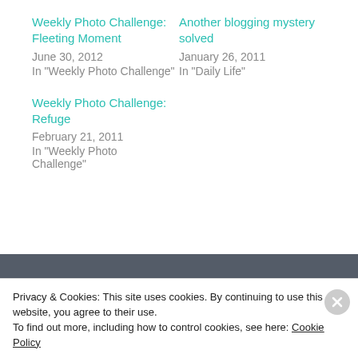Weekly Photo Challenge: Fleeting Moment
June 30, 2012
In "Weekly Photo Challenge"
Another blogging mystery solved
January 26, 2011
In "Daily Life"
Weekly Photo Challenge: Refuge
February 21, 2011
In "Weekly Photo Challenge"
August 24, 2011
Privacy & Cookies: This site uses cookies. By continuing to use this website, you agree to their use.
To find out more, including how to control cookies, see here: Cookie Policy
Close and accept